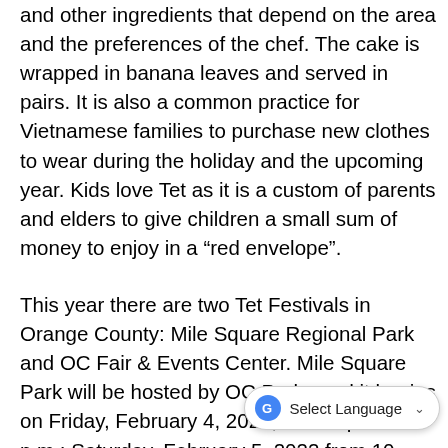and other ingredients that depend on the area and the preferences of the chef. The cake is wrapped in banana leaves and served in pairs. It is also a common practice for Vietnamese families to purchase new clothes to wear during the holiday and the upcoming year. Kids love Tet as it is a custom of parents and elders to give children a small sum of money to enjoy in a “red envelope”.
This year there are two Tet Festivals in Orange County: Mile Square Regional Park and OC Fair & Events Center. Mile Square Park will be hosted by OC Parks and it begins on Friday, February 4, 2022, from 5 p.m. - 10 p.m.; Saturday, February 5, 2022 from 10 a.m. to 10 p.m.; Sunday, February 6, 2022 from 10 a.m. to 9 p.m. See the flyer below for more information.